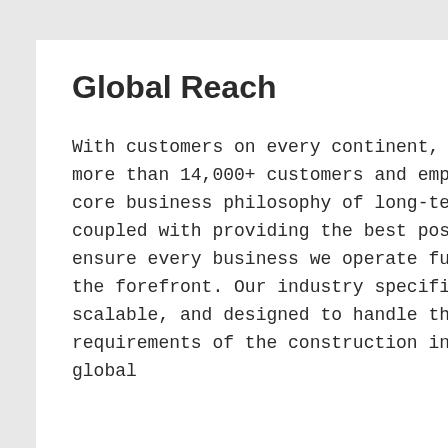Global Reach
With customers on every continent, we have a diverse customer base of more than 14,000+ customers and employ more than 550+ staff. JDM has a core business philosophy of long-term commitment to customer service, coupled with providing the best possible solutions to customers, we ensure every business we operate functions with the customer's needs at the forefront. Our industry specific solutions are functionally rich, scalable, and designed to handle the complex and ever evolving requirements of the construction industry and built environment. Our global...